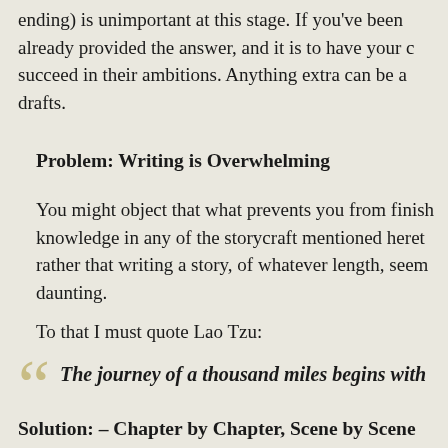ending) is unimportant at this stage. If you've been already provided the answer, and it is to have your c succeed in their ambitions. Anything extra can be a drafts.
Problem: Writing is Overwhelming
You might object that what prevents you from finish knowledge in any of the storycraft mentioned heret rather that writing a story, of whatever length, seem daunting.
To that I must quote Lao Tzu:
“The journey of a thousand miles begins with
Solution: – Chapter by Chapter, Scene by Scene